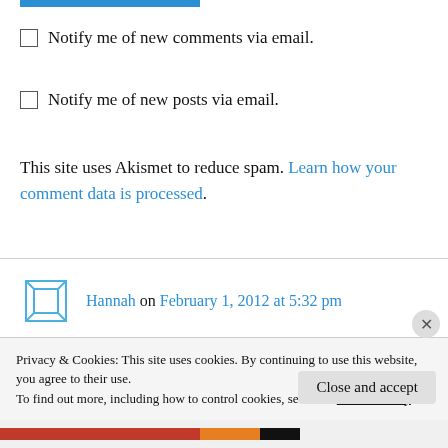[Figure (other): Blue horizontal bar at top]
Notify me of new comments via email.
Notify me of new posts via email.
This site uses Akismet to reduce spam. Learn how your comment data is processed.
Hannah on February 1, 2012 at 5:32 pm
Awesome idea. In the back of my mind, I've always wondered how long I could eat from
Privacy & Cookies: This site uses cookies. By continuing to use this website, you agree to their use.
To find out more, including how to control cookies, see here: Cookie Policy